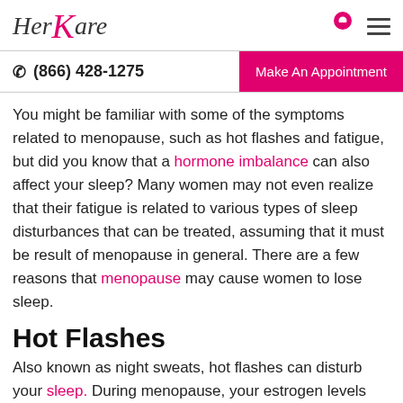HerKare logo with navigation icons
(866) 428-1275   Make An Appointment
You might be familiar with some of the symptoms related to menopause, such as hot flashes and fatigue, but did you know that a hormone imbalance can also affect your sleep? Many women may not even realize that their fatigue is related to various types of sleep disturbances that can be treated, assuming that it must be result of menopause in general. There are a few reasons that menopause may cause women to lose sleep.
Hot Flashes
Also known as night sweats, hot flashes can disturb your sleep. During menopause, your estrogen levels drop. This can lead to sudden bouts of feeling overheated and